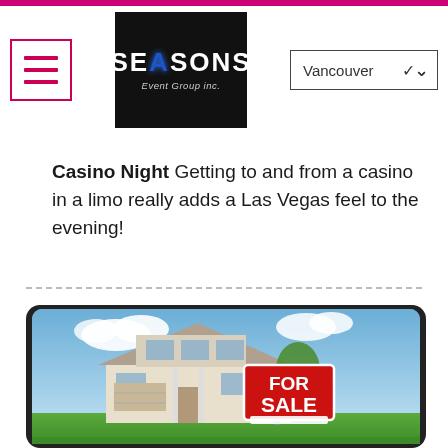Seasons Event Group Inc. — Vancouver
Casino Night Getting to and from a casino in a limo really adds a Las Vegas feel to the evening!
[Figure (photo): A house with a 'FOR SALE' real estate sign in front, shown on a tablet/device screen with rounded corners. Blue sky and clouds in background.]